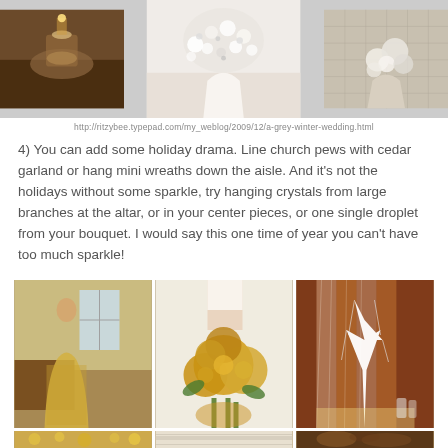[Figure (photo): Three wedding decor photos at top: candle centerpiece, white floral arrangement, and flower bouquet in vase]
http://ritzybee.typepad.com/my_weblog/2009/12/a-grey-winter-wedding.html
4) You can add some holiday drama. Line church pews with cedar garland or hang mini wreaths down the aisle. And it's not the holidays without some sparkle, try hanging crystals from large branches at the altar, or in your center pieces, or one single droplet from your bouquet. I would say this one time of year you can't have too much sparkle!
[Figure (photo): Three wedding inspiration photos: woman in gold sequin dress, yellow rose bouquet, crystal tree decoration]
[Figure (photo): Bottom strip photos: gold floral pattern, fabric detail, dark floral]